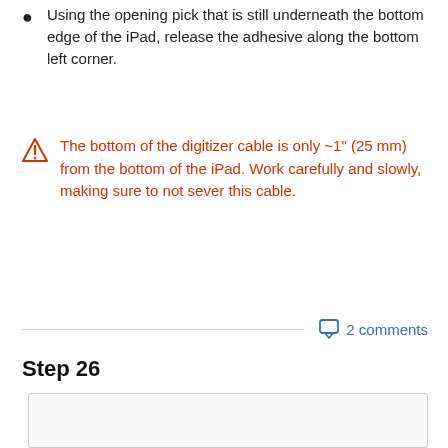Using the opening pick that is still underneath the bottom edge of the iPad, release the adhesive along the bottom left corner.
The bottom of the digitizer cable is only ~1" (25 mm) from the bottom of the iPad. Work carefully and slowly, making sure to not sever this cable.
2 comments
Step 26
[Figure (photo): Empty image area for Step 26 photograph]